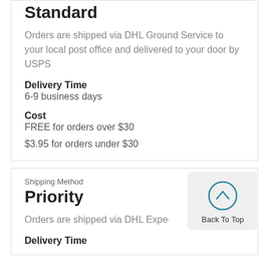Standard
Orders are shipped via DHL Ground Service to your local post office and delivered to your door by USPS
Delivery Time
6-9 business days
Cost
FREE for orders over $30
$3.95 for orders under $30
Shipping Method
Priority
Orders are shipped via DHL Expedited M
Delivery Time